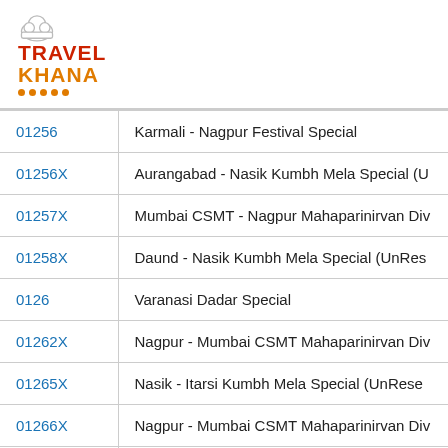Travel Khana
| Train No. | Train Name |
| --- | --- |
| 01256 | Karmali - Nagpur Festival Special |
| 01256X | Aurangabad - Nasik Kumbh Mela Special (U... |
| 01257X | Mumbai CSMT - Nagpur Mahaparinirvan Div... |
| 01258X | Daund - Nasik Kumbh Mela Special (UnRes... |
| 0126 | Varanasi Dadar Special |
| 01262X | Nagpur - Mumbai CSMT Mahaparinirvan Div... |
| 01265X | Nasik - Itarsi Kumbh Mela Special (UnRese... |
| 01266X | Nagpur - Mumbai CSMT Mahaparinirvan Div... |
| 01268 | Amravati - Nasik Kumbh Mela Special (UnR... |
| 01268X | Amravati - Nasik Kumbh Mela Special (UnR... |